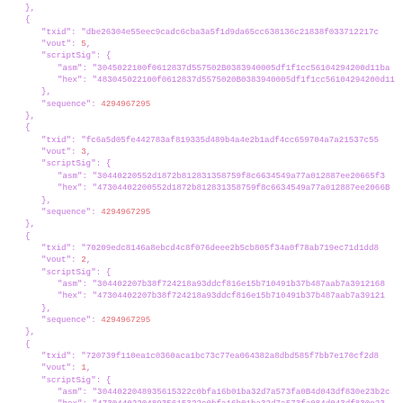JSON code block showing Bitcoin transaction inputs with txid, vout, scriptSig (asm and hex), and sequence fields